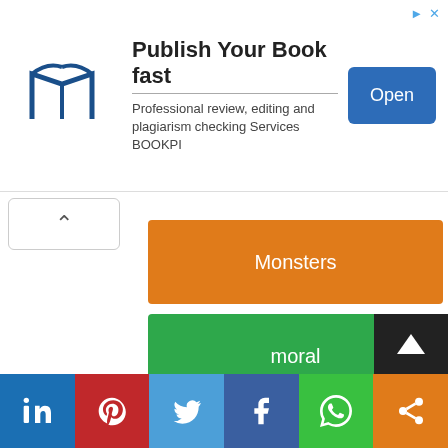[Figure (infographic): Advertisement banner: book icon on left, 'Publish Your Book fast' title, subtitle 'Professional review, editing and plagiarism checking Services BOOKPI', blue 'Open' button on right]
Monsters
moral
Music
Nature
Non-Fiction
Nursery Rhymes
[Figure (infographic): Social media sharing bar with LinkedIn, Pinterest, Twitter, Facebook, WhatsApp, and share icons]